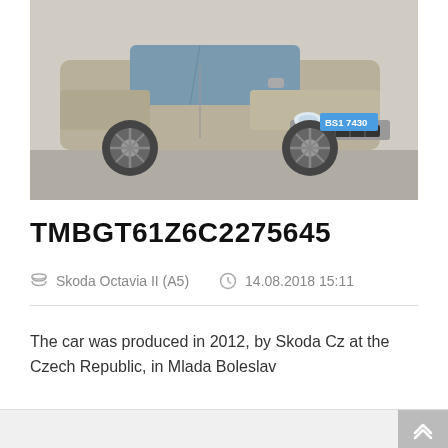[Figure (photo): Front view of a silver/beige Skoda Octavia II (A5) sedan with license plate BS1 7430, parked on a road]
TMBGT61Z6C2275645
Skoda Octavia II (A5)   14.08.2018 15:11
The car was produced in 2012, by Skoda Cz at the Czech Republic, in Mlada Boleslav
Read More